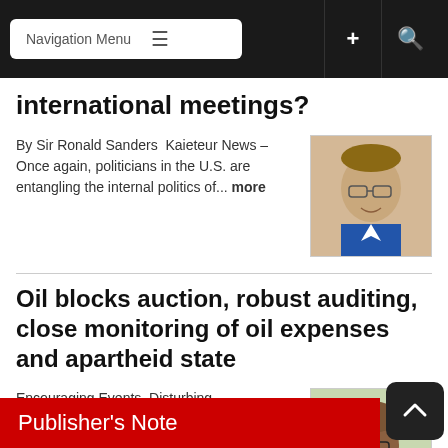Navigation Menu
international meetings?
By Sir Ronald Sanders  Kaieteur News – Once again, politicians in the U.S. are entangling the internal politics of... more
[Figure (photo): Headshot of a middle-aged man with glasses, wearing a suit and blue tie]
Oil blocks auction, robust auditing, close monitoring of oil expenses and apartheid state
Encouraging Events, Disturbing Developments By GHK Lall Kaieteur News – The Opposition is showing some muscle in oil... more
[Figure (photo): Headshot of an older man with glasses, wearing a white shirt and green tie]
Publisher's Note